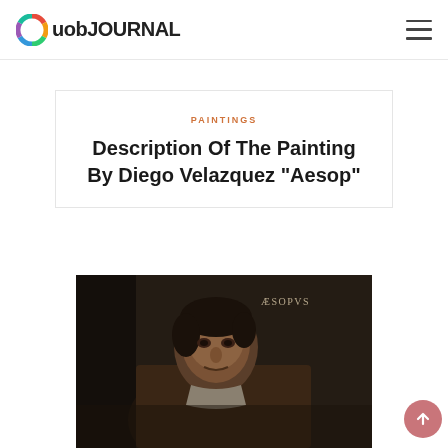uob JOURNAL
PAINTINGS
Description Of The Painting By Diego Velazquez "Aesop"
[Figure (photo): Velazquez painting of Aesop — a dark, brooding portrait of an elderly man looking slightly to the side, wearing a brown cloak. The inscription ÆSOPVS appears in the upper right of the painting.]